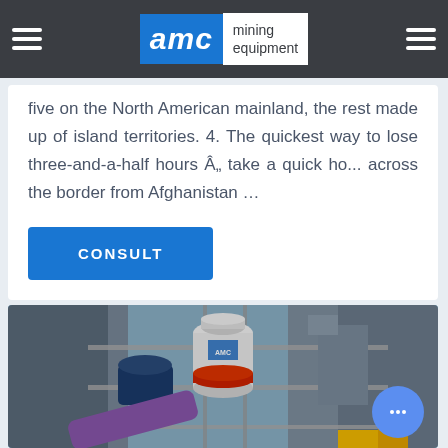AMC mining equipment
five on the North American mainland, the rest made up of island territories. 4. The quickest way to lose three-and-a-half hours Â„ take a quick ho... across the border from Afghanistan …
CONSULT
[Figure (photo): Industrial mining equipment - cone crusher and machinery at a facility, viewed from below against building structures and sky]